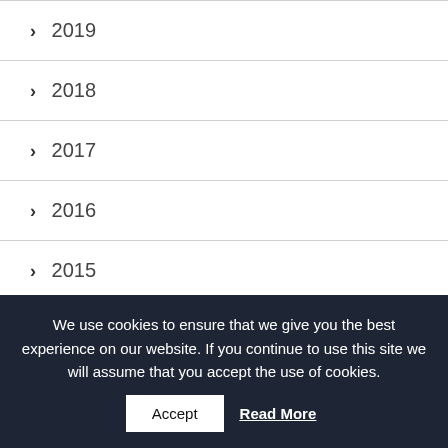› 2019
› 2018
› 2017
› 2016
› 2015
We have been awarded 'Excellent' by ISI!
We use cookies to ensure that we give you the best experience on our website. If you continue to use this site we will assume that you accept the use of cookies.